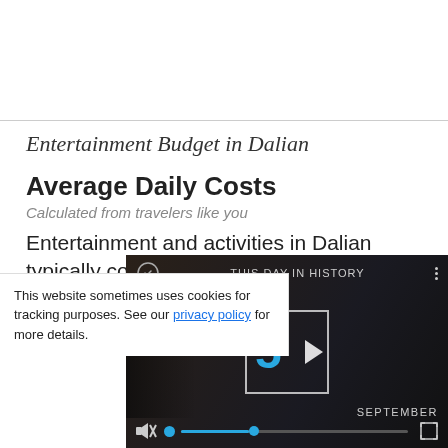Entertainment Budget in Dalian
Average Daily Costs
Calculated from travelers like you
Entertainment and activities in Dalian typically cost an average of ¥28 per person, p... includes fees pai...
This website sometimes uses cookies for tracking purposes. See our privacy policy for more details.
[Figure (screenshot): Video overlay showing 'THIS DAY IN HISTORY' with a play button, the number 5, SEPTEMBER text, and video controls including mute, progress bar, and fullscreen button.]